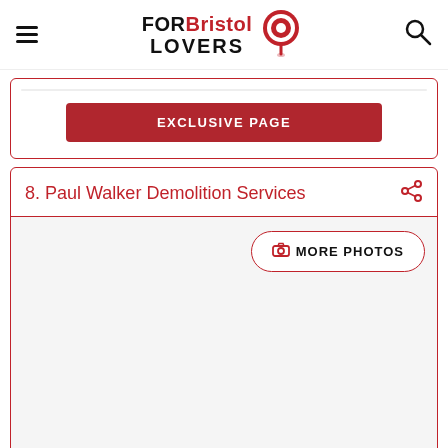FORBristol LOVERS
[Figure (other): Red rounded button with text EXCLUSIVE PAGE]
8. Paul Walker Demolition Services
[Figure (other): Card body area with MORE PHOTOS button, mostly white/light grey content area]